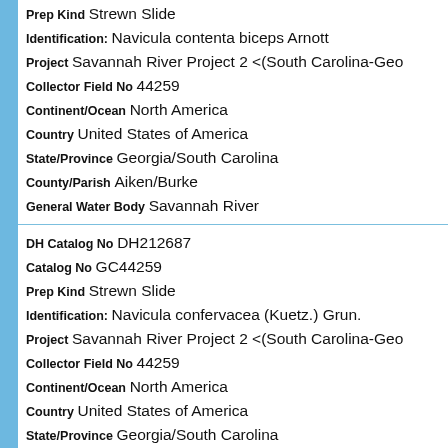Prep Kind: Strewn Slide | Identification: Navicula contenta biceps Arnott | Project: Savannah River Project 2 <(South Carolina-Geo | Collector Field No: 44259 | Continent/Ocean: North America | Country: United States of America | State/Province: Georgia/South Carolina | County/Parish: Aiken/Burke | General Water Body: Savannah River
DH Catalog No: DH212687 | Catalog No: GC44259 | Prep Kind: Strewn Slide | Identification: Navicula confervacea (Kuetz.) Grun. | Project: Savannah River Project 2 <(South Carolina-Geo | Collector Field No: 44259 | Continent/Ocean: North America | Country: United States of America | State/Province: Georgia/South Carolina | County/Parish: Aiken/Burke | General Water Body: Savannah River
DH Catalog No: DH212687 | Catalog No: GC44259 | Prep Kind: Strewn Slide | Identification: Navicula cincta minuta Skvortz.